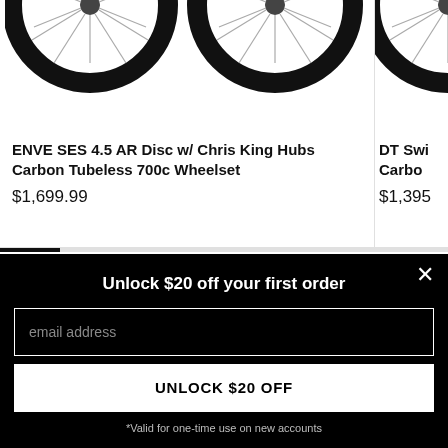[Figure (photo): Two bicycle wheels (carbon road wheelsets) shown from the front, partially cropped at the top of the page]
ENVE SES 4.5 AR Disc w/ Chris King Hubs Carbon Tubeless 700c Wheelset
$1,699.99
[Figure (photo): Partial view of another bicycle wheel on the right side, cropped]
DT Swi
Carbo
$1,395
Unlock $20 off your first order
email address
UNLOCK $20 OFF
*Valid for one-time use on new accounts